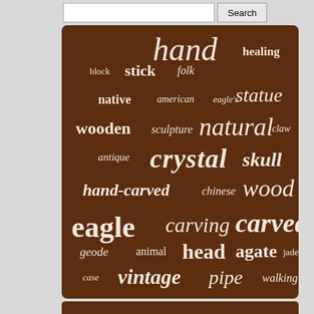[Figure (other): Word cloud on brown background containing carving/sculpture related search terms of varying sizes: hand, healing, stick, folk, block, native, american, eagle's, statue, wooden, sculpture, natural, claw, antique, crystal, skull, hand-carved, chinese, wood, eagle, carving, carved, geode, animal, head, agate, jade, case, vintage, pipe, walking, quartz, antler, bird, meerschaum]